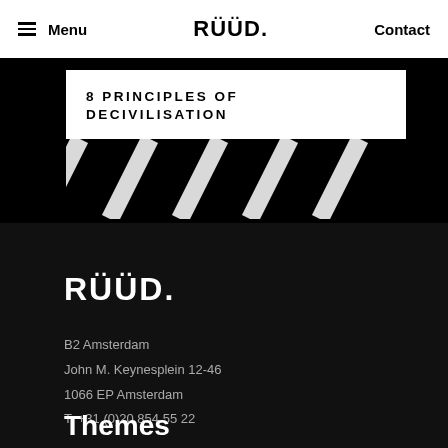Menu | RUUD. | Contact
8 PRINCIPLES OF DECIVILISATION
[Figure (illustration): Black background banner with diagonal white stripe pattern at the bottom]
RUUD.
B2 Amsterdam
John M. Keynesplein 12-46
1066 EP Amsterdam
T: +31 (0)20 854 55 22
Themes